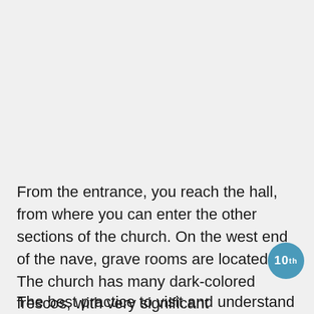From the entrance, you reach the hall, from where you can enter the other sections of the church. On the west end of the nave, grave rooms are located. The church has many dark-colored frescos, with very significant descriptions. These frescoes are said the be painted between the 10th century and the 12th century AD.
The best practice to visit and understand the Ihlara valley